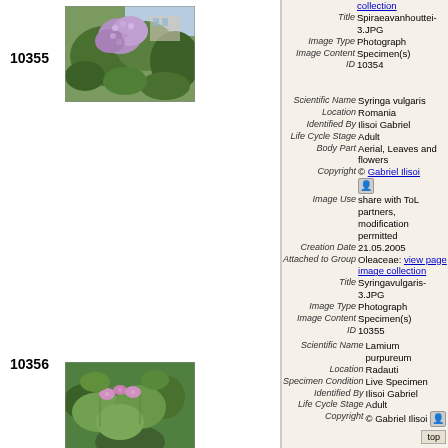collection (link)
Title: Spiraeavanhouttei-3.JPG
Image Type: Photograph
Image Content: Specimen(s)
ID: 10354
10355
[Figure (photo): Syringa vulgaris (lilac) plant with purple flower clusters and green leaves, with building visible in background]
| Field | Value |
| --- | --- |
| Scientific Name | Syringa vulgaris |
| Location | Romania |
| Identified By | Ilisoi Gabriel |
| Life Cycle Stage | Adult |
| Body Part | Aerial, Leaves and flowers |
| Copyright | © Gabriel Ilisoi |
| Image Use | share with ToL partners, modification permitted |
| Creation Date | 21.05.2005 |
| Attached to Group | Oleaceae: view page image collection |
| Title | Syringavulgaris-3.JPG |
| Image Type | Photograph |
| Image Content | Specimen(s) |
| ID | 10355 |
10356
[Figure (photo): Lamium purpureum plant with serrated green leaves and small pink/purple flowers]
| Field | Value |
| --- | --- |
| Scientific Name | Lamium purpureum |
| Location | Radauti |
| Specimen Condition | Live Specimen |
| Identified By | Ilisoi Gabriel |
| Life Cycle Stage | Adult |
| Copyright | © Gabriel Ilisoi |